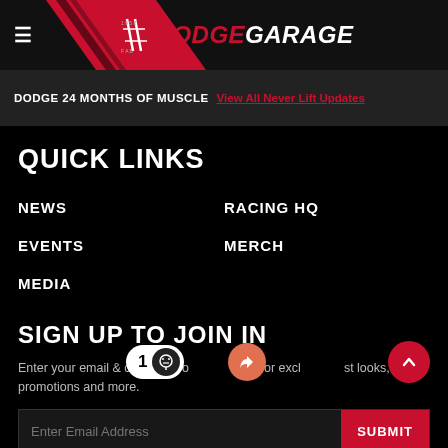DODGE GARAGE
DODGE 24 MONTHS OF MUSCLE  View All Never Lift Updates
QUICK LINKS
NEWS
RACING HQ
EVENTS
MERCH
MEDIA
SIGN UP TO JOIN IN
Enter your email & create a Dodge account for exclusive first looks, promotions and more.
Enter Email Address  SUBMIT